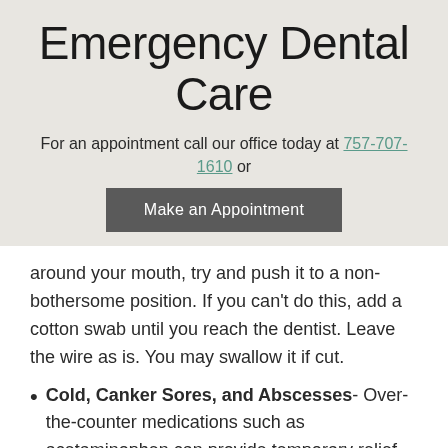Emergency Dental Care
For an appointment call our office today at 757-707-1610 or
Make an Appointment
around your mouth, try and push it to a non-bothersome position. If you can't do this, add a cotton swab until you reach the dentist. Leave the wire as is. You may swallow it if cut.
Cold, Canker Sores, and Abscesses- Over-the-counter medications such as acetaminophen can provide temporary relief as well. Use only as directed. An abscess is a serious infection that typically occurs in the gumline around the teeth. If left alone, infections might spread to the